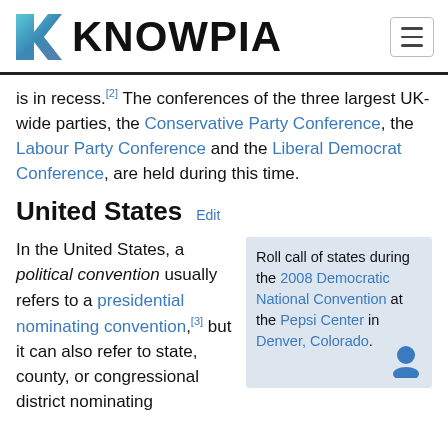KNOWPIA
is in recess.[2] The conferences of the three largest UK-wide parties, the Conservative Party Conference, the Labour Party Conference and the Liberal Democrat Conference, are held during this time.
United States  Edit
In the United States, a political convention usually refers to a presidential nominating convention,[3] but it can also refer to state, county, or congressional district nominating
Roll call of states during the 2008 Democratic National Convention at the Pepsi Center in Denver, Colorado.